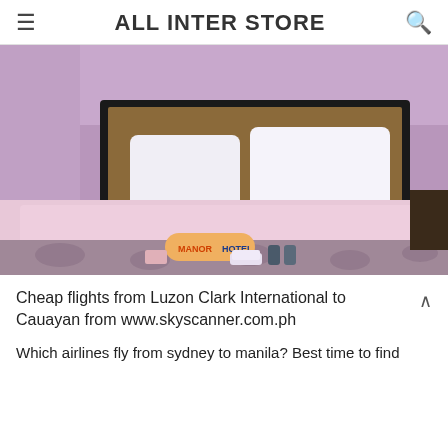ALL INTER STORE
[Figure (photo): Hotel room photo showing a bed with white pillows and a pink/purple-tinted bedspread. A folded towel with 'MANOR HOTEL' text and small toiletry bottles are placed at the foot of the bed. The room has a dark headboard and purple ambient lighting.]
Cheap flights from Luzon Clark International to Cauayan from www.skyscanner.com.ph
Which airlines fly from sydney to manila? Best time to find